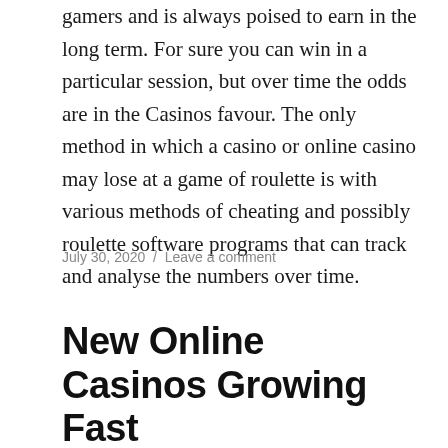gamers and is always poised to earn in the long term. For sure you can win in a particular session, but over time the odds are in the Casinos favour. The only method in which a casino or online casino may lose at a game of roulette is with various methods of cheating and possibly roulette software programs that can track and analyse the numbers over time.
July 30, 2020 / Leave a comment
New Online Casinos Growing Fast